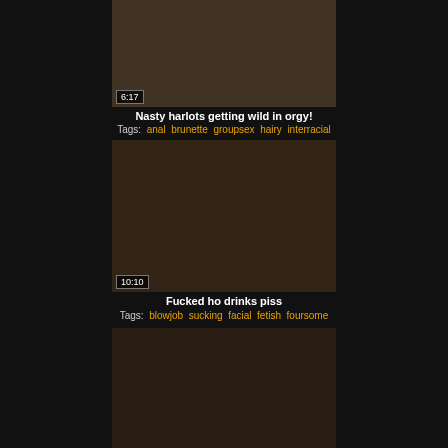[Figure (photo): Thumbnail of group scene with duration badge 6:17]
Nasty harlots getting wild in orgy!
Tags: anal  brunette  groupsex  hairy  interracial
[Figure (photo): Thumbnail of adult scene with duration badge 10:10]
Fucked ho drinks piss
Tags: blowjob  sucking  facial  fetish  foursome
[Figure (photo): Partial thumbnail of adult scene at bottom of page]